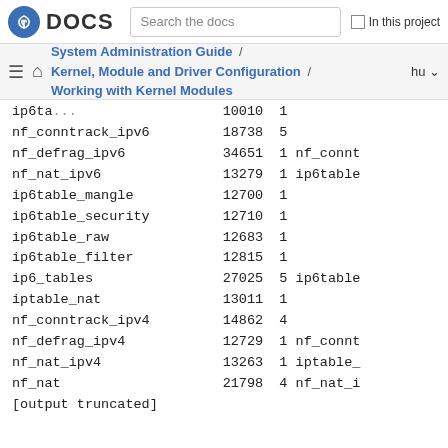Fedora DOCS — Search the docs — In this project
System Administration Guide / Kernel, Module and Driver Configuration / Working with Kernel Modules  hu
ip6ta...  10010  1
nf_conntrack_ipv6  18738  5
nf_defrag_ipv6  34651  1 nf_connt
nf_nat_ipv6  13279  1 ip6table
ip6table_mangle  12700  1
ip6table_security  12710  1
ip6table_raw  12683  1
ip6table_filter  12815  1
ip6_tables  27025  5 ip6table
iptable_nat  13011  1
nf_conntrack_ipv4  14862  4
nf_defrag_ipv4  12729  1 nf_connt
nf_nat_ipv4  13263  1 iptable_
nf_nat  21798  4 nf_nat_i
[output truncated]